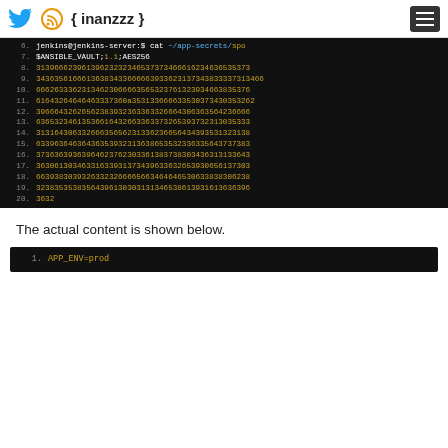{ inanzzz }
[Figure (screenshot): Terminal/code block showing lines 6-20 of a file. Line 6: jenkins@jenkins-server:$ cat ~/app-secrets/spo, Line 7: $ANSIBLE_VAULT;1.1;AES256, Lines 8-20: long hex strings, Line 20: 3632]
The actual content is shown below.
[Figure (screenshot): Terminal/code block showing line 1: APP_ENV=prod]